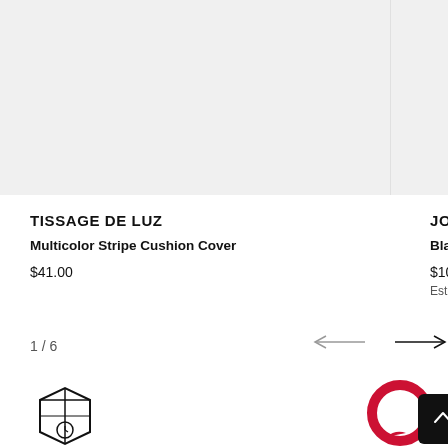[Figure (photo): Product image area - light gray placeholder background for cushion cover product]
TISSAGE DE LUZ
Multicolor Stripe Cushion Cover
$41.00
JOA
Black
$102.
Est.R
1 / 6
[Figure (illustration): Left arrow navigation icon]
[Figure (illustration): Right arrow navigation icon]
[Figure (illustration): Red circular chat/messaging icon]
[Figure (illustration): Scroll to top button - dark square with upward arrow]
[Figure (illustration): Package/delivery box icon with clock]